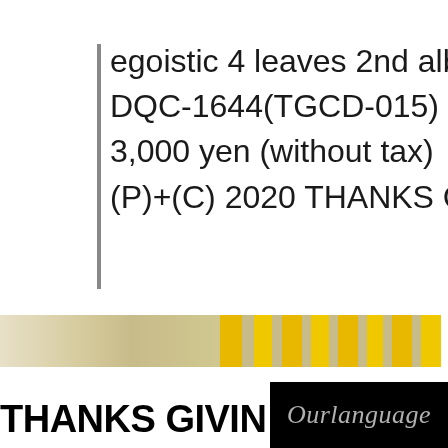egoistic 4 leaves 2nd album
DQC-1644(TGCD-015)
3,000 yen (without tax)
(P)+(C) 2020 THANKS GIVING
[Figure (other): Horizontal decorative stripe band with alternating cream/tan and yellow segments]
THANKS GIVING
[Figure (logo): Ourlanguage logo in italic grey text on black background]